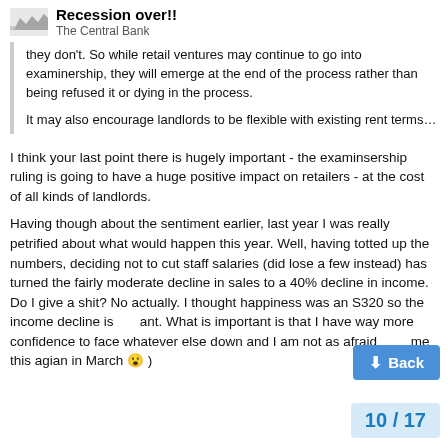Recession over!!
The Central Bank
they don't. So while retail ventures may continue to go into examinership, they will emerge at the end of the process rather than being refused it or dying in the process.

It may also encourage landlords to be flexible with existing rent terms…
I think your last point there is hugely important - the examinsership ruling is going to have a huge positive impact on retailers - at the cost of all kinds of landlords.
Having though about the sentiment earlier, last year I was really petrified about what would happen this year. Well, having totted up the numbers, deciding not to cut staff salaries (did lose a few instead) has turned the fairly moderate decline in sales to a 40% decline in income. Do I give a shit? No actually. I thought happiness was an S320 so the income decline is ant. What is important is that I have way more confidence to face whatever else down and I am not as afraid me this agian in March 😮 )